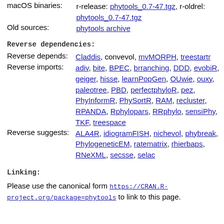macOS binaries: r-release: phytools_0.7-47.tgz, r-oldrel: phytools_0.7-47.tgz
Old sources: phytools archive
Reverse dependencies:
Reverse depends: Claddis, convevol, mvMORPH, treestartr
Reverse imports: adiv, bite, BPEC, brranching, DDD, evobiR, geiger, hisse, learnPopGen, OUwie, ouxy, paleotree, PBD, perfectphyloR, pez, PhyInformR, PhySortR, RAM, recluster, RPANDA, Rphylopars, RRphylo, sensiPhy, TKF, treespace
Reverse suggests: ALA4R, idiogramFISH, nichevol, phybreak, PhylogeneticEM, ratematrix, rhierbaps, RNeXML, secsse, selac
Linking:
Please use the canonical form https://CRAN.R-project.org/package=phytools to link to this page.